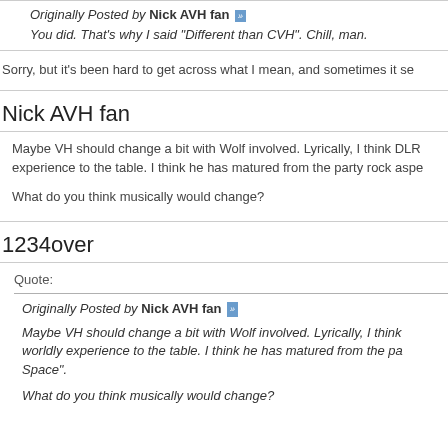Originally Posted by Nick AVH fan
You did. That's why I said "Different than CVH". Chill, man.
Sorry, but it's been hard to get across what I mean, and sometimes it se
Nick AVH fan
Maybe VH should change a bit with Wolf involved. Lyrically, I think DLR experience to the table. I think he has matured from the party rock aspe
What do you think musically would change?
1234over
Quote:
Originally Posted by Nick AVH fan
Maybe VH should change a bit with Wolf involved. Lyrically, I think worldly experience to the table. I think he has matured from the pa Space".
What do you think musically would change?